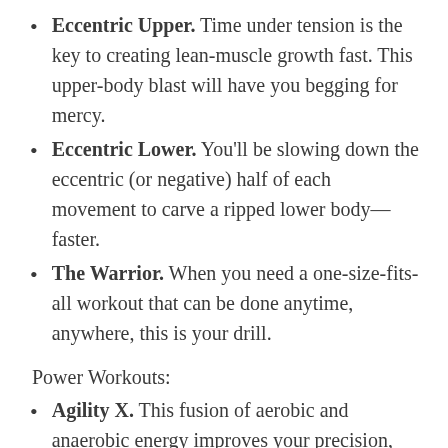Eccentric Upper. Time under tension is the key to creating lean-muscle growth fast. This upper-body blast will have you begging for mercy.
Eccentric Lower. You'll be slowing down the eccentric (or negative) half of each movement to carve a ripped lower body—faster.
The Warrior. When you need a one-size-fits-all workout that can be done anytime, anywhere, this is your drill.
Power Workouts:
Agility X. This fusion of aerobic and anaerobic energy improves your precision, flexibility, balance, and strength.
Triometrics. Increase your speed and power in a fraction of the time with this explosive next-